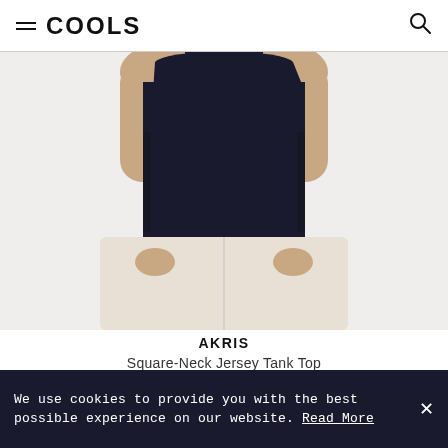COOLS
[Figure (photo): Woman wearing a dark navy square-neck jersey tank top tucked into white pants, cropped to show torso only]
AKRIS
Square-Neck Jersey Tank Top
$275
We use cookies to provide you with the best possible experience on our website. Read More